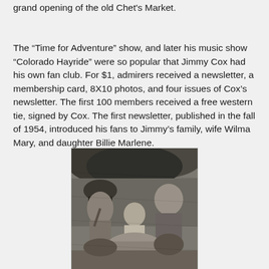grand opening of the old Chet's Market.

The “Time for Adventure” show, and later his music show “Colorado Hayride” were so popular that Jimmy Cox had his own fan club. For $1, admirers received a newsletter, a membership card, 8X10 photos, and four issues of Cox’s newsletter. The first 100 members received a free western tie, signed by Cox. The first newsletter, published in the fall of 1954, introduced his fans to Jimmy’s family, wife Wilma Mary, and daughter Billie Marlene.
[Figure (photo): Black and white photograph of a family group, likely Jimmy Cox with wife Wilma Mary and daughter Billie Marlene, seated outdoors.]